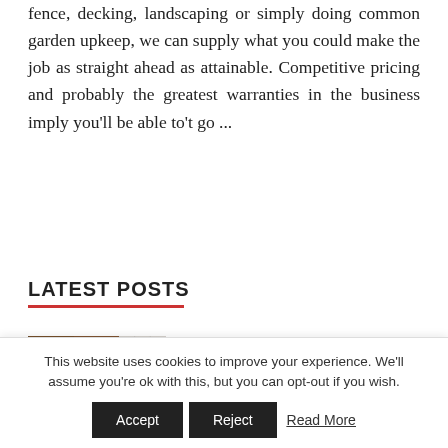fence, decking, landscaping or simply doing common garden upkeep, we can supply what you could make the job as straight ahead as attainable. Competitive pricing and probably the greatest warranties in the business imply you'll be able to't go ...
READ MORE
LATEST POSTS
[Figure (photo): Thumbnail image showing a warmly lit interior space with dark wooden tones on the left and a light grid-patterned section on the right.]
How to Take Care of a Tall, Thin
This website uses cookies to improve your experience. We'll assume you're ok with this, but you can opt-out if you wish.
Accept   Reject   Read More